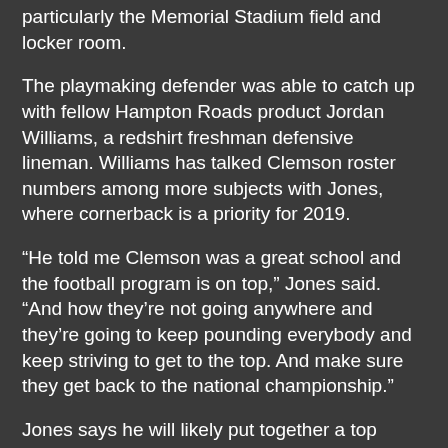particularly the Memorial Stadium field and locker room.
The playmaking defender was able to catch up with fellow Hampton Roads product Jordan Williams, a redshirt freshman defensive lineman. Williams has talked Clemson roster numbers among more subjects with Jones, where cornerback is a priority for 2019.
“He told me Clemson was a great school and the football program is on top,” Jones said. “And how they’re not going anywhere and they’re going to keep pounding everybody and keep striving to get to the top. And make sure they get back to the national championship.”
Jones says he will likely put together a top schools list in the spring or summer and take official visits after football season.
Stacking up against a new group of prospects now from 2019, he says it lines up with his mentality.
“I’ve been going against guys older than me even in the